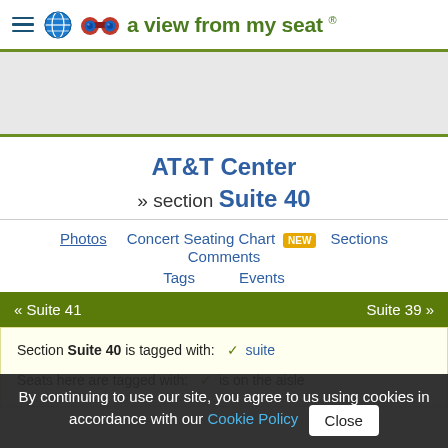a view from my seat ®
AT&T Center
» section Suite 40
Photos
Concert Seating Chart NEW
Sections
Comments
Tags
Events
« Suite 41    Suite 39 »
Section Suite 40 is tagged with: ✓ suite
Seats here are tagged with: ✓ is on the aisle
By continuing to use our site, you agree to us using cookies in accordance with our Cookie Policy  Close